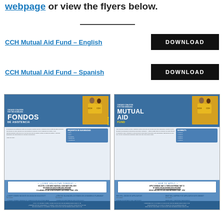webpage or view the flyers below.
CCH Mutual Aid Fund – English
DOWNLOAD
CCH Mutual Aid Fund – Spanish
DOWNLOAD
[Figure (photo): Two flyers side by side: Spanish version (FONDOS DE ASISTENCIA MUTUA) and English version (MUTUAL AID FUND) from Chicago Coalition for the Homeless, with how-to-apply information and FAQ sections.]